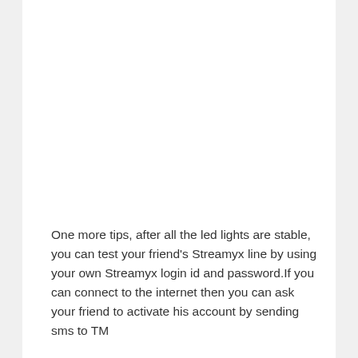One more tips, after all the led lights are stable, you can test your friend's Streamyx line by using your own Streamyx login id and password.If you can connect to the internet then you can ask your friend to activate his account by sending sms to TM